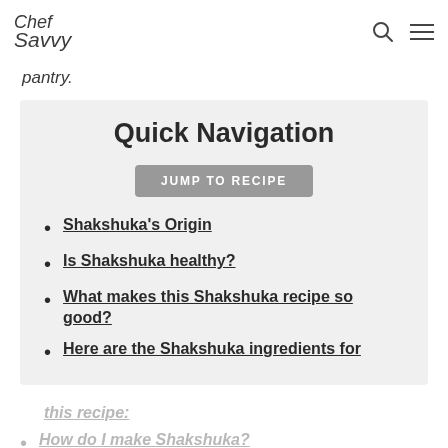Chef Savvy [logo] [search icon] [menu icon]
pantry.
Quick Navigation
JUMP TO RECIPE
Shakshuka's Origin
Is Shakshuka healthy?
What makes this Shakshuka recipe so good?
Here are the Shakshuka ingredients for this recipe:
How do I make Shakshuka?